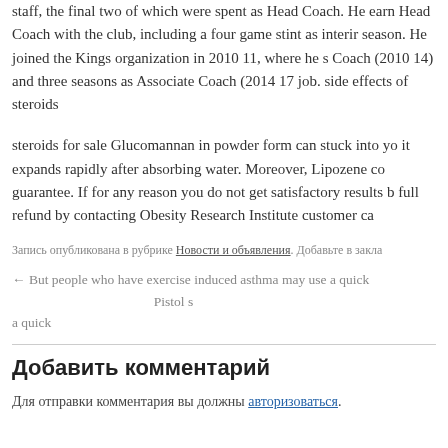staff, the final two of which were spent as Head Coach. He earn Head Coach with the club, including a four game stint as interin season. He joined the Kings organization in 2010 11, where he s Coach (2010 14) and three seasons as Associate Coach (2014 17 job. side effects of steroids
steroids for sale Glucomannan in powder form can stuck into yo it expands rapidly after absorbing water. Moreover, Lipozene co guarantee. If for any reason you do not get satisfactory results b full refund by contacting Obesity Research Institute customer ca
Запись опубликована в рубрике Новости и объявления. Добавьте в закла
← But people who have exercise induced asthma may use a quick    Pistol s
Добавить комментарий
Для отправки комментария вы должны авторизоваться.